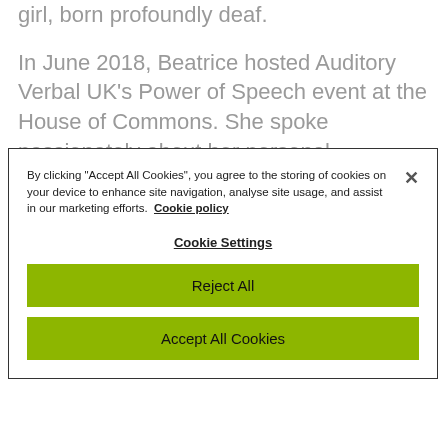girl, born profoundly deaf.
In June 2018, Beatrice hosted Auditory Verbal UK's Power of Speech event at the House of Commons. She spoke passionately about her personal experience in front of MPs, health and
By clicking "Accept All Cookies", you agree to the storing of cookies on your device to enhance site navigation, analyse site usage, and assist in our marketing efforts. Cookie policy
Cookie Settings
Reject All
Accept All Cookies